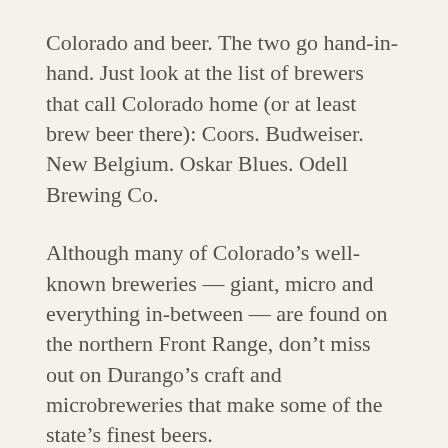Colorado and beer. The two go hand-in-hand. Just look at the list of brewers that call Colorado home (or at least brew beer there): Coors. Budweiser. New Belgium. Oskar Blues. Odell Brewing Co.
Although many of Colorado’s well-known breweries — giant, micro and everything in-between — are found on the northern Front Range, don’t miss out on Durango’s craft and microbreweries that make some of the state’s finest beers.
All of Durango’s craft breweries are close to your room at the Durango Quality Inn: Durango Brewing Co. is less than a block from our hotel, while the farthest, Ska Brewing, is